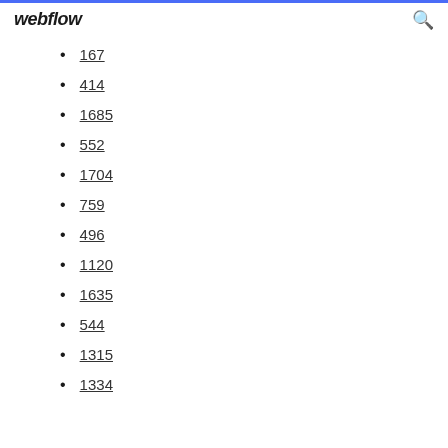webflow
167
414
1685
552
1704
759
496
1120
1635
544
1315
1334